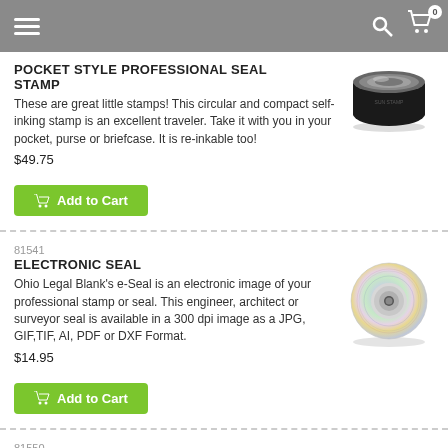Navigation header with hamburger menu, search icon, and cart (0)
POCKET STYLE PROFESSIONAL SEAL STAMP
These are great little stamps! This circular and compact self-inking stamp is an excellent traveler. Take it with you in your pocket, purse or briefcase. It is re-inkable too!
$49.75
[Figure (photo): Photo of a circular black pocket seal stamp]
Add to Cart
81541
ELECTRONIC SEAL
Ohio Legal Blank's e-Seal is an electronic image of your professional stamp or seal. This engineer, architect or surveyor seal is available in a 300 dpi image as a JPG, GIF,TIF, AI, PDF or DXF Format.
$14.95
[Figure (photo): Photo of a shiny CD/DVD disc]
Add to Cart
81550
WOOD HANDLE REVIEW/SHOP DRAWING STAMP
Architect or Engineer Shop Drawing Review Rubber
[Figure (other): Preview image of a shop drawing review stamp with FIRM NAME AND ADDRESS HERE fields]